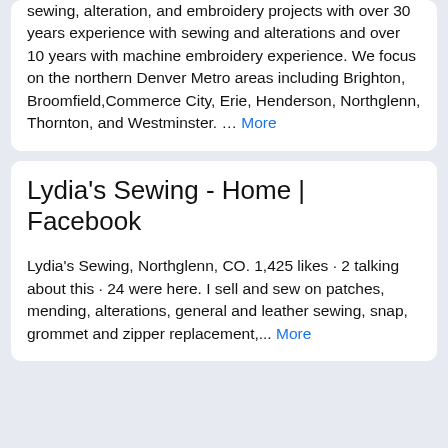sewing, alteration, and embroidery projects with over 30 years experience with sewing and alterations and over 10 years with machine embroidery experience. We focus on the northern Denver Metro areas including Brighton, Broomfield,Commerce City, Erie, Henderson, Northglenn, Thornton, and Westminster. … More
Lydia's Sewing - Home | Facebook
Lydia's Sewing, Northglenn, CO. 1,425 likes · 2 talking about this · 24 were here. I sell and sew on patches, mending, alterations, general and leather sewing, snap, grommet and zipper replacement,... More